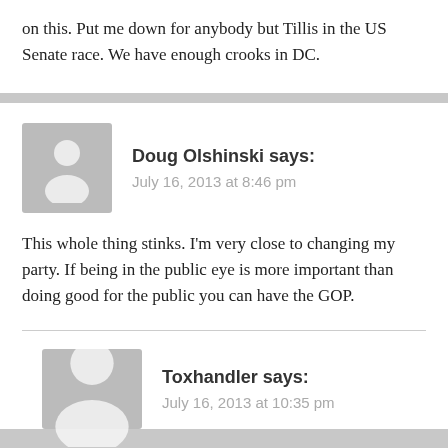on this. Put me down for anybody but Tillis in the US Senate race. We have enough crooks in DC.
Doug Olshinski says: July 16, 2013 at 8:46 pm
This whole thing stinks. I'm very close to changing my party. If being in the public eye is more important than doing good for the public you can have the GOP.
Toxhandler says: July 16, 2013 at 10:35 pm